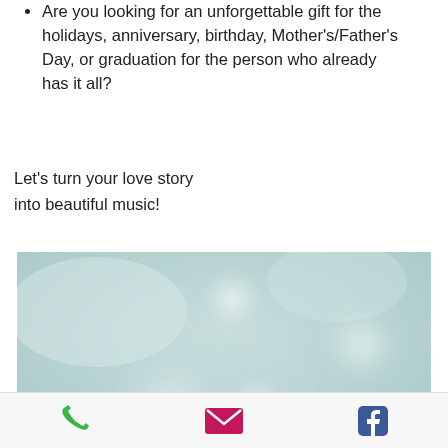Are you looking for an unforgettable gift for the holidays, anniversary, birthday, Mother's/Father's Day, or graduation for the person who already has it all?
Let's turn your love story into beautiful music!
[Figure (illustration): Soft teal/mint blurred background with white blurry heart shapes scattered across the image, giving a dreamy romantic feel.]
Phone icon | Email icon | Facebook icon